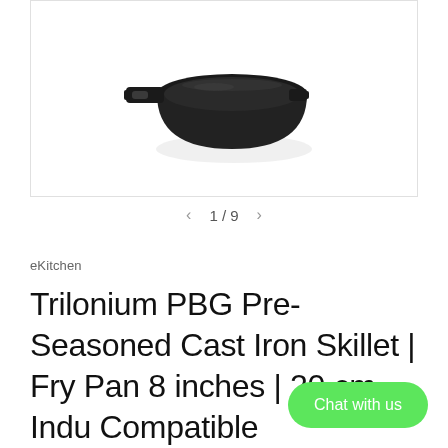[Figure (photo): Cast iron skillet fry pan viewed from above at an angle, dark black color with a short handle on the left side, shown on a white background]
1 / 9
eKitchen
Trilonium PBG Pre-Seasoned Cast Iron Skillet | Fry Pan 8 inches | 20 cm – Indu Compatible
Chat with us